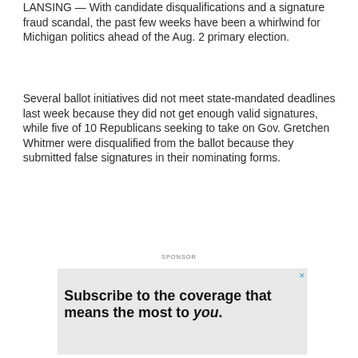LANSING — With candidate disqualifications and a signature fraud scandal, the past few weeks have been a whirlwind for Michigan politics ahead of the Aug. 2 primary election.
Several ballot initiatives did not meet state-mandated deadlines last week because they did not get enough valid signatures, while five of 10 Republicans seeking to take on Gov. Gretchen Whitmer were disqualified from the ballot because they submitted false signatures in their nominating forms.
SPONSOR
[Figure (other): Advertisement banner: Subscribe to the coverage that means the most to you.]